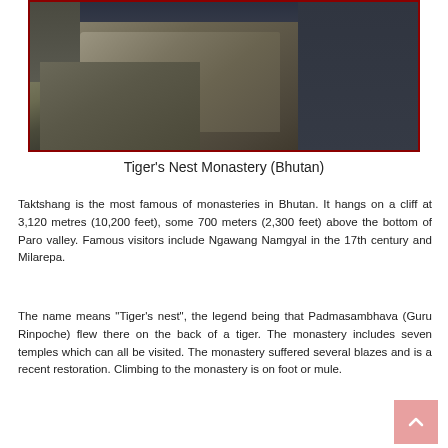[Figure (photo): A photograph of Tiger's Nest Monastery perched on rocky cliffs in Bhutan, with dark dramatic rock faces and misty background]
Tiger's Nest Monastery (Bhutan)
Taktshang is the most famous of monasteries in Bhutan. It hangs on a cliff at 3,120 metres (10,200 feet), some 700 meters (2,300 feet) above the bottom of Paro valley. Famous visitors include Ngawang Namgyal in the 17th century and Milarepa.
The name means "Tiger's nest", the legend being that Padmasambhava (Guru Rinpoche) flew there on the back of a tiger. The monastery includes seven temples which can all be visited. The monastery suffered several blazes and is a recent restoration. Climbing to the monastery is on foot or mule.